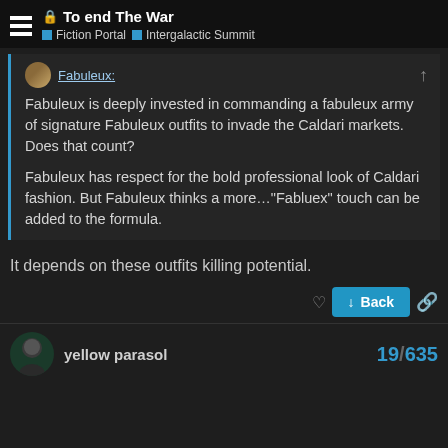To end The War / Fiction Portal / Intergalactic Summit
Fabuleux: Fabuleux is deeply invested in commanding a fabuleux army of signature Fabuleux outfits to invade the Caldari markets. Does that count? Fabuleux has respect for the bold professional look of Caldari fashion. But Fabuleux thinks a more..."Fabluex" touch can be added to the formula.
It depends on these outfits killing potential.
yellow parasol 19/635